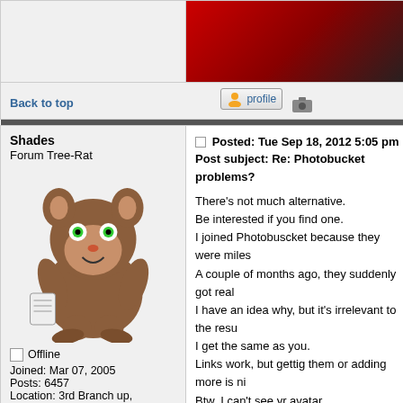[Figure (illustration): Top section showing user avatar area (left, gray) and a red/dark banner image (right)]
Back to top
[Figure (illustration): Profile button icon and camera icon]
Shades
Forum Tree-Rat
[Figure (illustration): Cartoon squirrel avatar image for user Shades]
Offline
Joined: Mar 07, 2005
Posts: 6457
Location: 3rd Branch up, 'Ye Olde Oak', Green Wood.
Posted: Tue Sep 18, 2012 5:05 pm
Post subject: Re: Photobucket problems?
There's not much alternative.
Be interested if you find one.
I joined Photobuscket because they were miles
A couple of months ago, they suddenly got real
I have an idea why, but it's irrelevant to the resu
I get the same as you.
Links work, but gettig them or adding more is ni
Btw, I can't see yr avatar.
Not sure if it's a simlar issue.....
Com-Central's
CPU > Intel i9-9900k (o/c 4.90
MOBO > ASUS PRIME Z390
GPU > Gigabyte GEFO
AUDIO > Creative X-Fi Xtreme Music (p